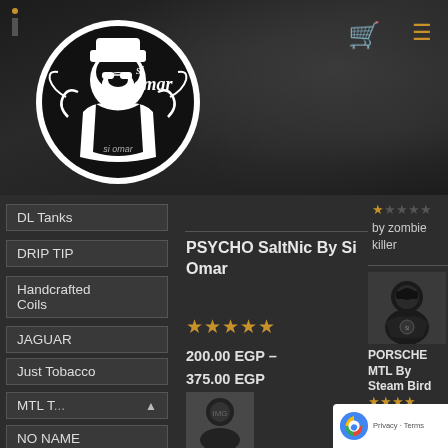[Figure (logo): Si Omar vape shop logo — black and white circular sticker design with stylized figure and 'si omar' text]
[Figure (illustration): Dark background header with tree/foliage texture, cart icon and hamburger menu icon in gold/orange top right]
DL Tanks
DRIP TIP
Handcrafted Coils
JAGUAR
Just Tobacco
MTL T...
NO NAME
PSYCHO SaltNic By Si Omar
★★★★★
200.00 EGP – 375.00 EGP
★☆☆☆☆
by zombie killer
[Figure (photo): Product thumbnail image for PORSCHE MTL By Steam Bird — masked figure product photo]
PORSCHE MTL By Steam Bird
★★★★
by careot